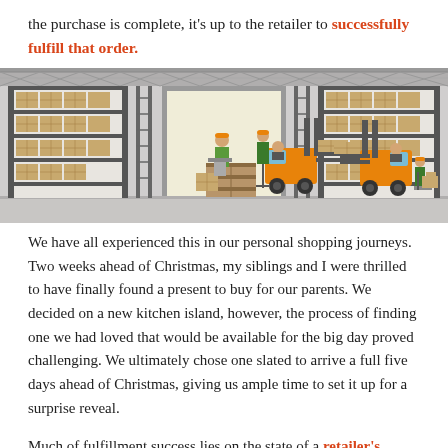the purchase is complete, it's up to the retailer to successfully fulfill that order.
[Figure (illustration): Illustration of a warehouse interior with shelving units stacked with boxes on left and right sides, two orange forklifts, workers in hard hats, stacked crates in the center, and a large loading bay door opening in the back center.]
We have all experienced this in our personal shopping journeys. Two weeks ahead of Christmas, my siblings and I were thrilled to have finally found a present to buy for our parents. We decided on a new kitchen island, however, the process of finding one we had loved that would be available for the big day proved challenging. We ultimately chose one slated to arrive a full five days ahead of Christmas, giving us ample time to set it up for a surprise reveal.
Much of fulfillment success lies on the state of a retailer's warehouse and unfortunately, this retail got it all wrong. On the day we were anticipating our delivery, we received an automated email saying the shipment was going to be delayed